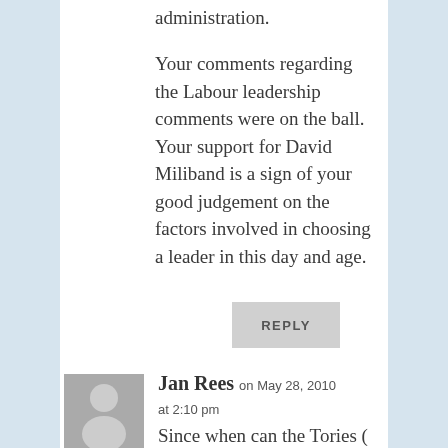administration.
Your comments regarding the Labour leadership comments were on the ball. Your support for David Miliband is a sign of your good judgement on the factors involved in choosing a leader in this day and age.
REPLY
Jan Rees on May 28, 2010 at 2:10 pm
Since when can the Tories (